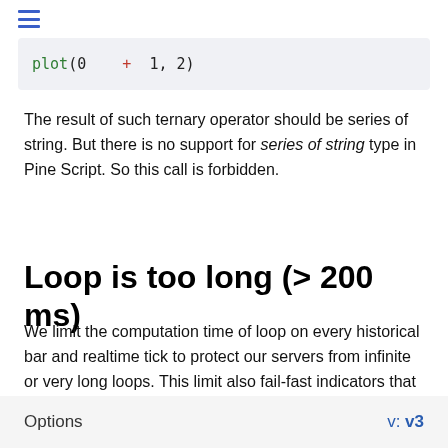☰
[Figure (screenshot): Code block showing: plot(0  +  1, 2) with syntax highlighting in green, red, and dark colors on a light gray background]
The result of such ternary operator should be series of string. But there is no support for series of string type in Pine Script. So this call is forbidden.
Loop is too long (> 200 ms)
We limit the computation time of loop on every historical bar and realtime tick to protect our servers from infinite or very long loops. This limit also fail-fast indicators that will take too long to compute. For example, if you'll have 5000 bars, and indicator takes 200 milliseconds to compute on each of bars, it would have result in more
Options    v: v3